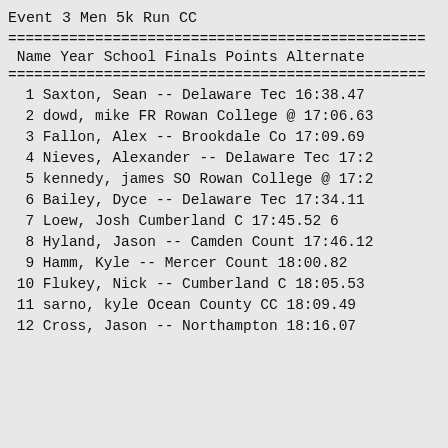Event 3 Men 5k Run CC
| Name | Year | School | Finals | Points | Alternate |
| --- | --- | --- | --- | --- | --- |
| 1 Saxton, Sean | -- | Delaware Tec | 16:38.47 |  |  |
| 2 dowd, mike | FR | Rowan College @ | 17:06.63 |  |  |
| 3 Fallon, Alex | -- | Brookdale Co | 17:09.69 |  |  |
| 4 Nieves, Alexander | -- | Delaware Tec | 17:2... |  |  |
| 5 kennedy, james | SO | Rowan College @ | 17:2... |  |  |
| 6 Bailey, Dyce | -- | Delaware Tec | 17:34.11 |  |  |
| 7 Loew, Josh |  | Cumberland C | 17:45.52 | 6 |  |
| 8 Hyland, Jason | -- | Camden Count | 17:46.12 |  |  |
| 9 Hamm, Kyle | -- | Mercer Count | 18:00.82 |  |  |
| 10 Flukey, Nick | -- | Cumberland C | 18:05.53 |  |  |
| 11 sarno, kyle |  | Ocean County CC | 18:09.49 |  |  |
| 12 Cross, Jason | -- | Northampton | 18:16.07 |  |  |